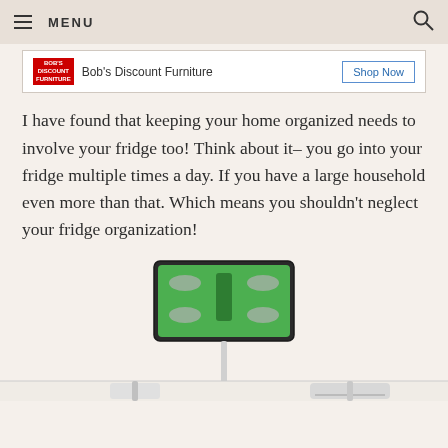MENU
[Figure (other): Bob's Discount Furniture advertisement banner with logo and Shop Now button]
I have found that keeping your home organized needs to involve your fridge too! Think about it– you go into your fridge multiple times a day. If you have a large household even more than that. Which means you shouldn't neglect your fridge organization!
[Figure (photo): Swiffer-like cleaning product with green mop head attachment shown from above, with handle extending downward. Below is a partial view of cleaning tool accessories.]